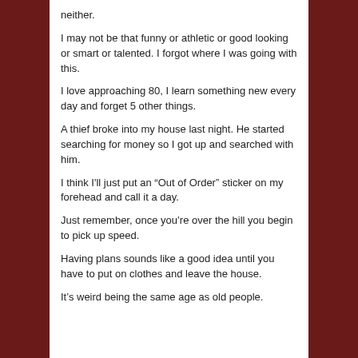neither.
I may not be that funny or athletic or good looking or smart or talented. I forgot where I was going with this.
I love approaching 80, I learn something new every day and forget 5 other things.
A thief broke into my house last night. He started searching for money so I got up and searched with him.
I think I’ll just put an “Out of Order” sticker on my forehead and call it a day.
Just remember, once you’re over the hill you begin to pick up speed.
Having plans sounds like a good idea until you have to put on clothes and leave the house.
It’s weird being the same age as old people.